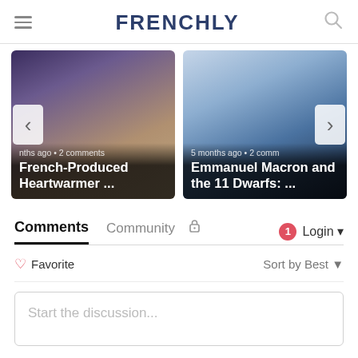FRENCHLY
[Figure (screenshot): Carousel showing two article cards: 1) A blonde woman smiling, article titled 'French-Produced Heartwarmer ...' with '5 months ago • 2 comments'; 2) Emmanuel Macron speaking at a podium with French flags, article titled 'Emmanuel Macron and the 11 Dwarfs: ...' with '5 months ago • 2 comments'. Left and right navigation arrows visible.]
Comments
Community
Login
Favorite
Sort by Best
Start the discussion...